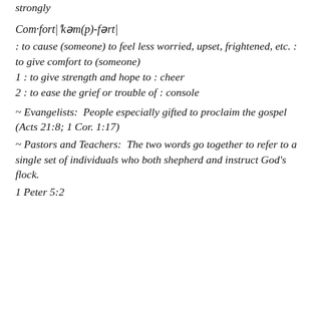strongly
Com·fort|ˈkəm(p)-fərt|
: to cause (someone) to feel less worried, upset, frightened, etc. : to give comfort to (someone)
1 : to give strength and hope to : cheer
2 : to ease the grief or trouble of : console
~ Evangelists:  People especially gifted to proclaim the gospel (Acts 21:8; 1 Cor. 1:17)
~ Pastors and Teachers:  The two words go together to refer to a single set of individuals who both shepherd and instruct God's flock.
1 Peter 5:2